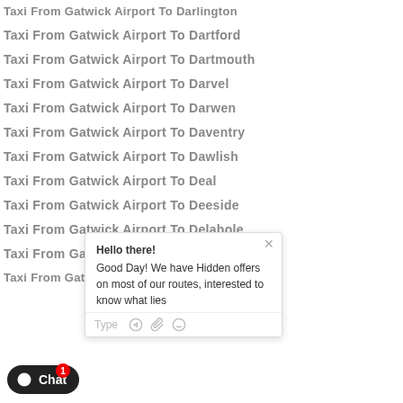Taxi From Gatwick Airport To Darlington
Taxi From Gatwick Airport To Dartford
Taxi From Gatwick Airport To Dartmouth
Taxi From Gatwick Airport To Darvel
Taxi From Gatwick Airport To Darwen
Taxi From Gatwick Airport To Daventry
Taxi From Gatwick Airport To Dawlish
Taxi From Gatwick Airport To Deal
Taxi From Gatwick Airport To Deeside
Taxi From Gatwick Airport To Delabole
Taxi From Gatwick Airport To Denbigh
Taxi From Gatwick Airport To Denny